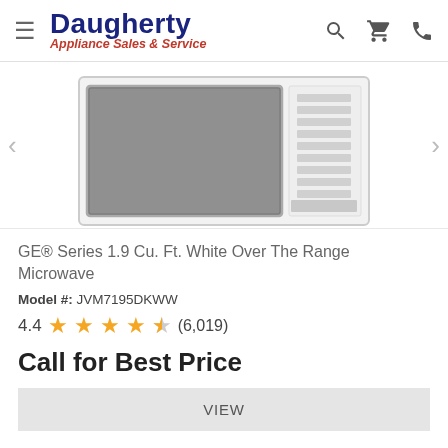Daugherty Appliance Sales & Service
[Figure (photo): GE over-the-range microwave in white, showing door and control panel, partially cropped at top]
GE® Series 1.9 Cu. Ft. White Over The Range Microwave
Model #: JVM7195DKWW
4.4 ★★★★½ (6,019)
Call for Best Price
VIEW